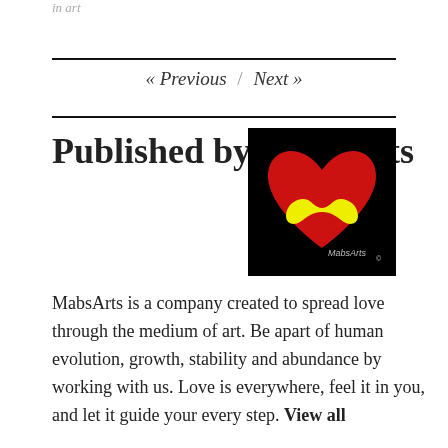in art
« Previous / Next »
Published by MabsArts
[Figure (logo): MabsArts logo: black background with a large red heart and a yellow mustache in the center, signed 'MabsArts']
MabsArts is a company created to spread love through the medium of art. Be apart of human evolution, growth, stability and abundance by working with us. Love is everywhere, feel it in you, and let it guide your every step. View all